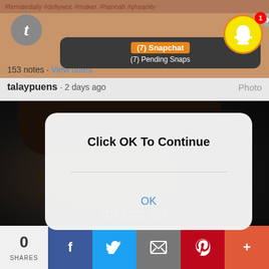#femaledaily #dollywoc #maker. #hannah #phsanity
[Figure (screenshot): Snapchat notification popup showing '(7) Snapchat' and '(7) Pending Snaps' with Snapchat ghost icon with badge showing 1]
153 notes · View notes
talaypuens · 2 days ago   Photo
[Figure (screenshot): iOS dialog box overlay on dark movie screenshot: 'Click OK To Continue' with OK button. Background shows person's face from movie with subtitle text 'THIS WHOLE LIFE']
0 SHARES
Facebook share button, Twitter share button, Email share button, Pinterest share button, Plus share button